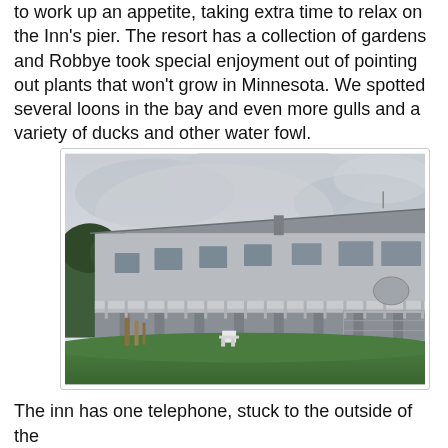to work up an appetite, taking extra time to relax on the Inn's pier. The resort has a collection of gardens and Robbye took special enjoyment out of pointing out plants that won't grow in Minnesota. We spotted several loons in the bay and even more gulls and a variety of ducks and other water fowl.
[Figure (photo): Exterior view of a long motel/inn building with white wood siding and railings on elevated decks, set on a grassy hillside under an overcast sky. A white Adirondack chair sits on the lawn below the decks.]
The inn has one telephone, stuck to the outside of the